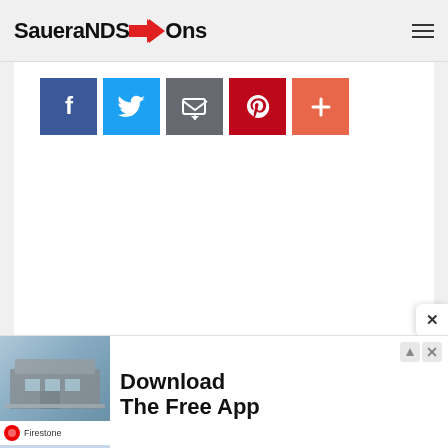SaueraNDS→Ons
[Figure (screenshot): Social sharing buttons row: Facebook (blue), Twitter (light blue), Email/share (grey), Pinterest (red), More/plus (orange-red)]
[Figure (screenshot): Advertisement banner: Firestone store photo on left, 'Download The Free App' text on right, with ad controls (triangle and X) in upper right]